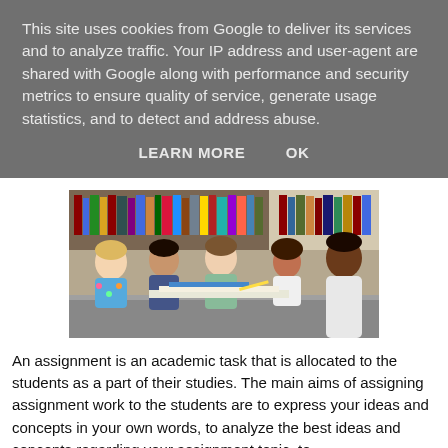This site uses cookies from Google to deliver its services and to analyze traffic. Your IP address and user-agent are shared with Google along with performance and security metrics to ensure quality of service, generate usage statistics, and to detect and address abuse.
LEARN MORE    OK
[Figure (photo): Group of diverse college students studying together at a library table, with bookshelves in the background.]
An assignment is an academic task that is allocated to the students as a part of their studies. The main aims of assigning assignment work to the students are to express your ideas and concepts in your own words, to analyze the best ideas and concepts regarding your assignment topic, to